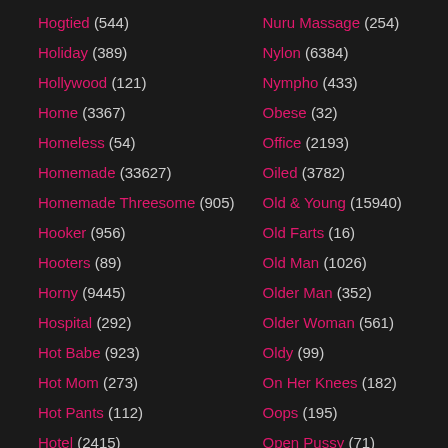Hogtied (544)
Holiday (389)
Hollywood (121)
Home (3367)
Homeless (54)
Homemade (33627)
Homemade Threesome (905)
Hooker (956)
Hooters (89)
Horny (9445)
Hospital (292)
Hot Babe (923)
Hot Mom (273)
Hot Pants (112)
Hotel (2415)
Hottie (2467)
Nuru Massage (254)
Nylon (6384)
Nympho (433)
Obese (32)
Office (2193)
Oiled (3782)
Old & Young (15940)
Old Farts (16)
Old Man (1026)
Older Man (352)
Older Woman (561)
Oldy (99)
On Her Knees (182)
Oops (195)
Open Pussy (71)
Oral (9510)